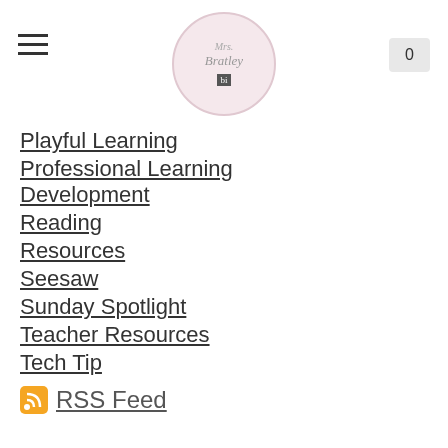Mrs. Bratley - navigation header with logo and cart button showing 0
Playful Learning
Professional Learning Development
Reading
Resources
Seesaw
Sunday Spotlight
Teacher Resources
Tech Tip
RSS Feed